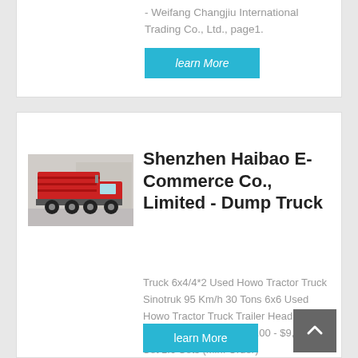- Weifang Changjiu International Trading Co., Ltd., page1.
learn More
[Figure (photo): Red dump truck (Howo/Sinotruk) photographed outdoors, side-rear view, with a building in the background.]
Shenzhen Haibao E-Commerce Co., Limited - Dump Truck
Truck 6x4/4*2 Used Howo Tractor Truck Sinotruk 95 Km/h 30 Tons 6x6 Used Howo Tractor Truck Trailer Head Euro 2 to Euro 5 371 Hp $6,000.00 - $9,000.00 / Set 1.0 Sets (Min. Order)
learn More